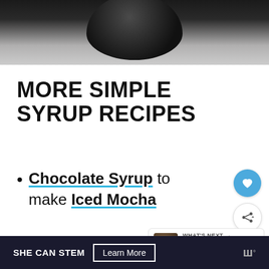[Figure (photo): Close-up photo of a dark/black matte ball or pot bottom against a light gray textured surface]
MORE SIMPLE SYRUP RECIPES
Chocolate Syrup to make Iced Mocha
SHE CAN STEM   Learn More